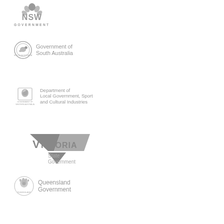[Figure (logo): NSW Government logo in grey]
[Figure (logo): Government of South Australia logo in grey]
[Figure (logo): Department of Local Government, Sport and Cultural Industries logo in grey]
[Figure (logo): Victoria State Government logo in grey]
[Figure (logo): Queensland Government logo in grey]